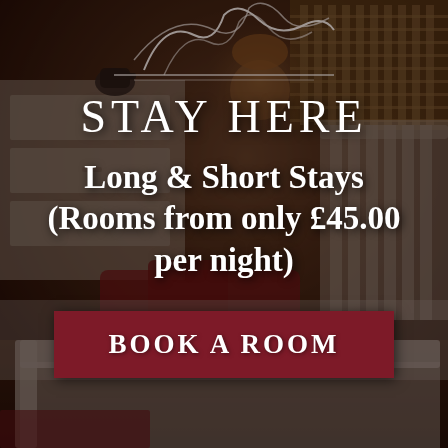[Figure (photo): Hotel bedroom interior with white wooden bed frame, white bedding with red cushions/pillows, white dresser with kettle, wooden venetian blinds on window, warm ambient lighting. Dark moody photograph used as background for accommodation promotional banner.]
STAY HERE
Long & Short Stays (Rooms from only £45.00 per night)
BOOK A ROOM